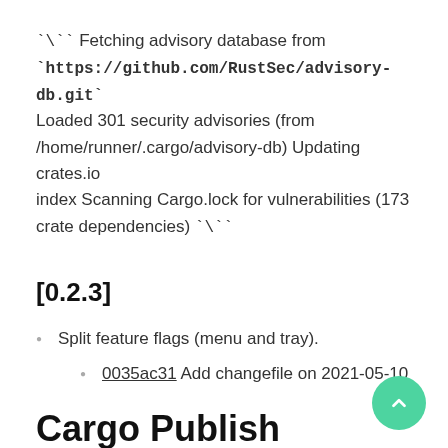`\`` Fetching advisory database from `https://github.com/RustSec/advisory-db.git` Loaded 301 security advisories (from /home/runner/.cargo/advisory-db) Updating crates.io index Scanning Cargo.lock for vulnerabilities (173 crate dependencies) `\``
[0.2.3]
Split feature flags (menu and tray).
0035ac31 Add changefile on 2021-05-10
Cargo Publish